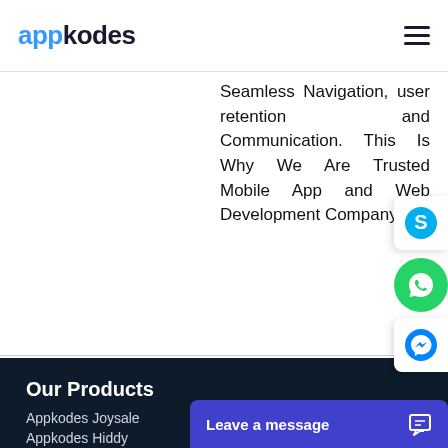appkodes
Seamless Navigation, user retention and Communication. This Is Why We Are Trusted Mobile App and Web Development Company.
Our Products
Appkodes Joysale
Appkodes Hiddy
Leave a message